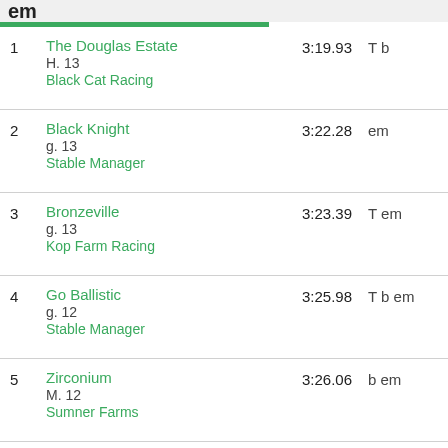em
1 The Douglas Estate H. 13 Black Cat Racing 3:19.93 T b
2 Black Knight g. 13 Stable Manager 3:22.28 em
3 Bronzeville g. 13 Kop Farm Racing 3:23.39 T em
4 Go Ballistic g. 12 Stable Manager 3:25.98 T b em
5 Zirconium M. 12 Sumner Farms 3:26.06 b em
6 Technetium M. 12 Stable Manager 3:26.32 em